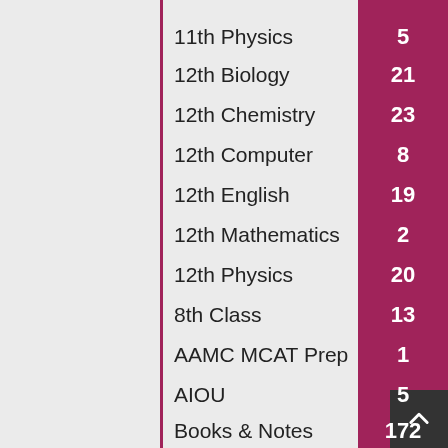11th Physics — 5
12th Biology — 21
12th Chemistry — 23
12th Computer — 8
12th English — 19
12th Mathematics — 2
12th Physics — 20
8th Class — 13
AAMC MCAT Prep — 1
AIOU — 5
Books & Notes — 172